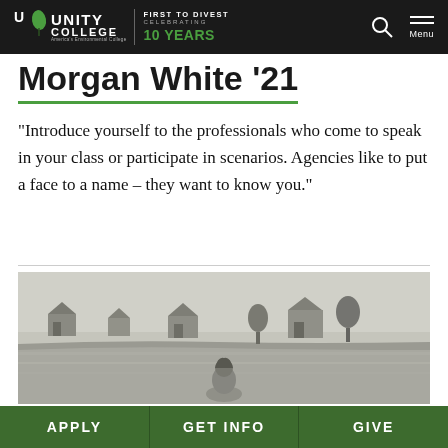Unity College | First to Divest Celebrating 10 Years
Morgan White '21
“Introduce yourself to the professionals who come to speak in your class or participate in scenarios. Agencies like to put a face to a name – they want to know you.”
[Figure (photo): Black and white photograph showing a coastal scene with houses along the shoreline and water in the foreground, a person visible in the lower portion of the image]
APPLY | GET INFO | GIVE